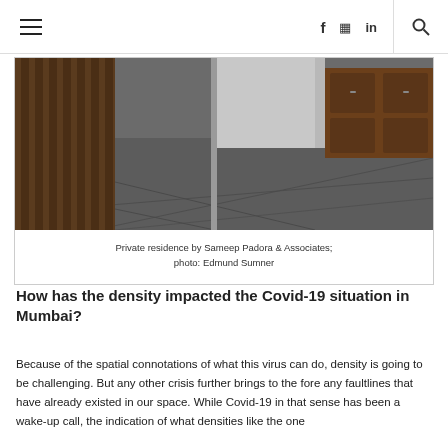≡  f  ⌂  in  🔍
[Figure (photo): Interior photo of a private residence showing a dark slate/concrete floor, wooden slatted wall panel on the left, and wooden furniture/cabinets in the background. Photographed by Edmund Sumner for Sameep Padora & Associates.]
Private residence by Sameep Padora & Associates; photo: Edmund Sumner
How has the density impacted the Covid-19 situation in Mumbai?
Because of the spatial connotations of what this virus can do, density is going to be challenging. But any other crisis further brings to the fore any faultlines that have already existed in our space. While Covid-19 in that sense has been a wake-up call, the indication of what densities like the one